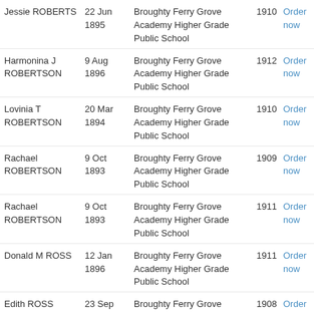| Name | Date | School | Year | Action |
| --- | --- | --- | --- | --- |
| Jessie ROBERTS | 22 Jun 1895 | Broughty Ferry Grove Academy Higher Grade Public School | 1910 | Order now |
| Harmonina J ROBERTSON | 9 Aug 1896 | Broughty Ferry Grove Academy Higher Grade Public School | 1912 | Order now |
| Lovinia T ROBERTSON | 20 Mar 1894 | Broughty Ferry Grove Academy Higher Grade Public School | 1910 | Order now |
| Rachael ROBERTSON | 9 Oct 1893 | Broughty Ferry Grove Academy Higher Grade Public School | 1909 | Order now |
| Rachael ROBERTSON | 9 Oct 1893 | Broughty Ferry Grove Academy Higher Grade Public School | 1911 | Order now |
| Donald M ROSS | 12 Jan 1896 | Broughty Ferry Grove Academy Higher Grade Public School | 1911 | Order now |
| Edith ROSS | 23 Sep | Broughty Ferry Grove Academy Higher Grade | 1908 | Order |